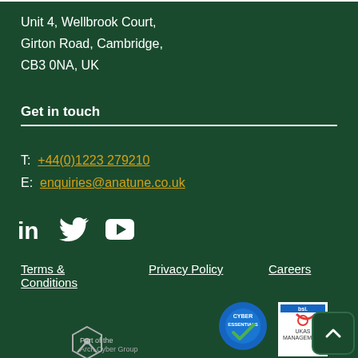Unit 4, Wellbrook Court,
Girton Road, Cambridge,
CB3 0NA, UK
Get in touch
T: +44(0)1223 279210
E: enquiries@anatune.co.uk
[Figure (illustration): Social media icons: LinkedIn, Twitter, YouTube]
Terms & Conditions
Privacy Policy
Careers
[Figure (logo): arch logo and Part of the ... text]
[Figure (logo): Cyber Essentials badge]
[Figure (logo): BSI UKAS logo]